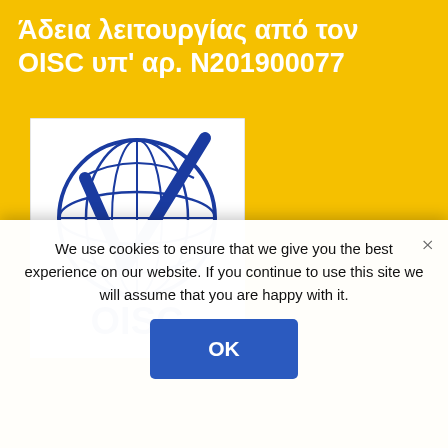Άδεια λειτουργίας από τον OISC υπ' αρ. N201900077
[Figure (logo): OISC logo: blue globe with a checkmark and 'OISC' text below, on a white rectangular background]
We use cookies to ensure that we give you the best experience on our website. If you continue to use this site we will assume that you are happy with it.
OK